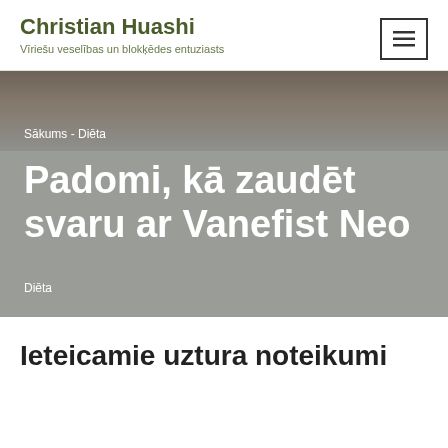Christian Huashi
Vīriešu veselības un blokķēdes entuziasts
Sākums - Diēta
Padomi, kā zaudēt svaru ar Vanefist Neo
Diēta
Ieteicamie uztura noteikumi